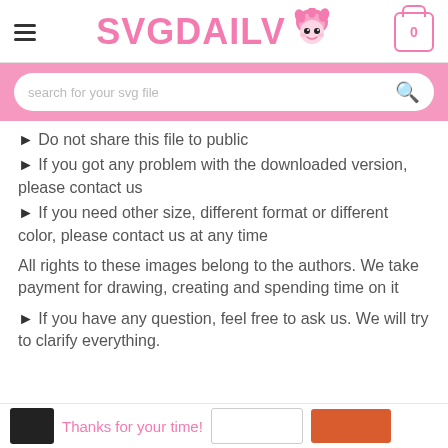SVGDAILV
Do not share this file to public
If you got any problem with the downloaded version, please contact us
If you need other size, different format or different color, please contact us at any time
All rights to these images belong to the authors. We take payment for drawing, creating and spending time on it
If you have any question, feel free to ask us. We will try to clarify everything.
Thanks for your time!